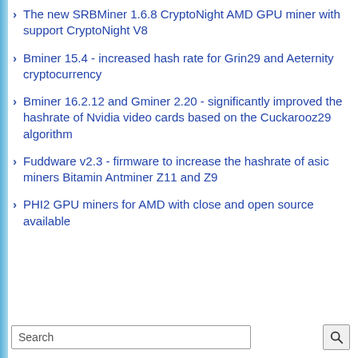The new SRBMiner 1.6.8 CryptoNight AMD GPU miner with support CryptoNight V8
Bminer 15.4 - increased hash rate for Grin29 and Aeternity cryptocurrency
Bminer 16.2.12 and Gminer 2.20 - significantly improved the hashrate of Nvidia video cards based on the Cuckarooz29 algorithm
Fuddware v2.3 - firmware to increase the hashrate of asic miners Bitamin Antminer Z11 and Z9
PHI2 GPU miners for AMD with close and open source available